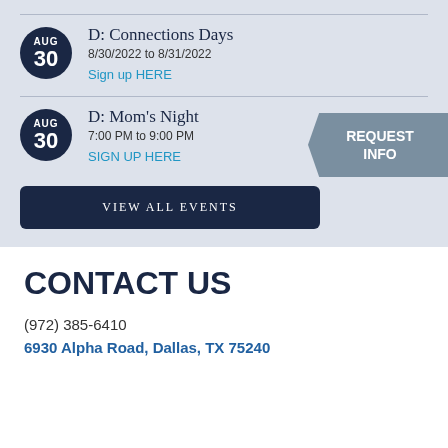D: Connections Days
8/30/2022 to 8/31/2022
Sign up HERE
D: Mom's Night
7:00 PM to 9:00 PM
SIGN UP HERE
VIEW ALL EVENTS
[Figure (infographic): REQUEST INFO arrow badge in slate blue]
CONTACT US
(972) 385-6410
6930 Alpha Road, Dallas, TX  75240